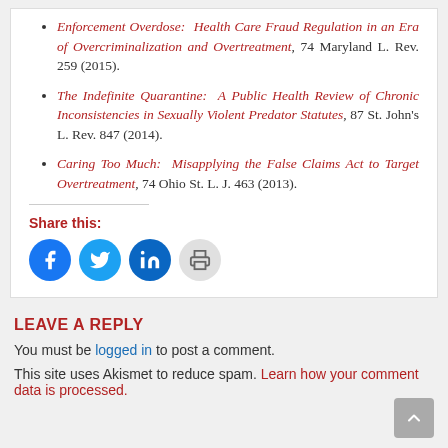Enforcement Overdose: Health Care Fraud Regulation in an Era of Overcriminalization and Overtreatment, 74 Maryland L. Rev. 259 (2015).
The Indefinite Quarantine: A Public Health Review of Chronic Inconsistencies in Sexually Violent Predator Statutes, 87 St. John's L. Rev. 847 (2014).
Caring Too Much: Misapplying the False Claims Act to Target Overtreatment, 74 Ohio St. L. J. 463 (2013).
Share this:
[Figure (other): Social sharing icons: Facebook, Twitter, LinkedIn, Print]
LEAVE A REPLY
You must be logged in to post a comment.
This site uses Akismet to reduce spam. Learn how your comment data is processed.